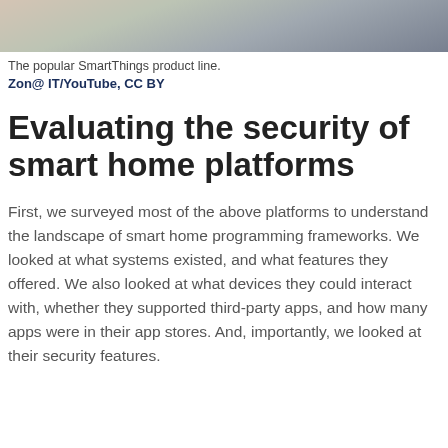[Figure (photo): Partial view of SmartThings product line hardware — blurred/cropped photo strip at top of page]
The popular SmartThings product line.
Zon@ IT/YouTube, CC BY
Evaluating the security of smart home platforms
First, we surveyed most of the above platforms to understand the landscape of smart home programming frameworks. We looked at what systems existed, and what features they offered. We also looked at what devices they could interact with, whether they supported third-party apps, and how many apps were in their app stores. And, importantly, we looked at their security features.